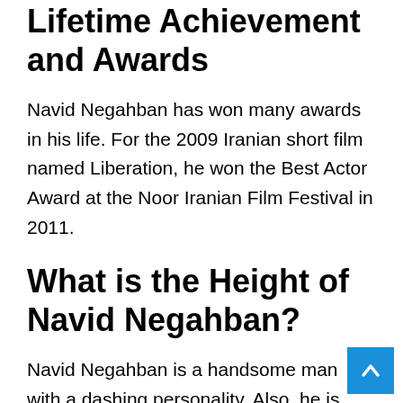Lifetime Achievement and Awards
Navid Negahban has won many awards in his life. For the 2009 Iranian short film named Liberation, he won the Best Actor Award at the Noor Iranian Film Festival in 2011.
What is the Height of Navid Negahban?
Navid Negahban is a handsome man with a dashing personality. Also, he is both mentally and physically fit. He has got a good height of 5 feet 11 inches tall or 1.8 meters.